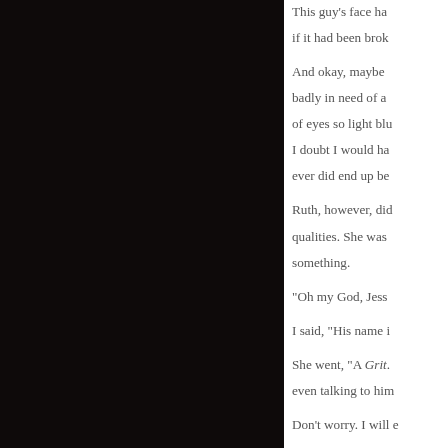This guy's face ha... if it had been brok...
And okay, maybe... badly in need of a... of eyes so light blu... I doubt I would ha... ever did end up be...
Ruth, however, did... qualities. She was... something.
"Oh my God, Jess...
I said, "His name i...
She went, "A Grit... even talking to him...
Don't worry. I will e...
There are two type... who come from th... live in town, or the... Townies think they... since most of the ... parents. The Grits... how to do stuff the... birth calves and st...